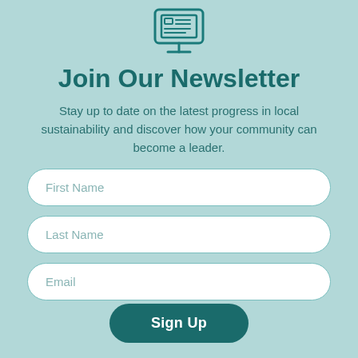[Figure (illustration): Teal outline icon of a desktop computer monitor with a small window/screen graphic displayed on it, sitting on a stand/base]
Join Our Newsletter
Stay up to date on the latest progress in local sustainability and discover how your community can become a leader.
First Name
Last Name
Email
Sign Up